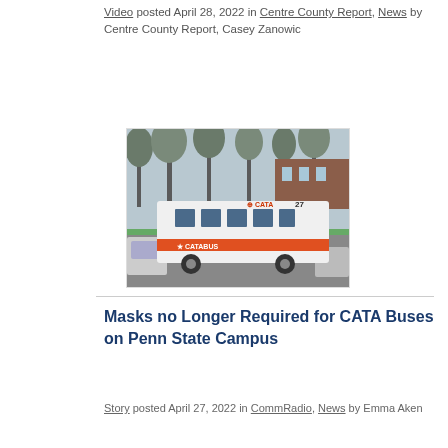Video posted April 28, 2022 in Centre County Report, News by Centre County Report, Casey Zanowic
[Figure (photo): A CATA bus number 27 parked or driving on a road near a campus, with bare trees and a brick building in the background. The bus is white with an orange stripe and CATA Bus branding.]
Masks no Longer Required for CATA Buses on Penn State Campus
Story posted April 27, 2022 in CommRadio, News by Emma Aken